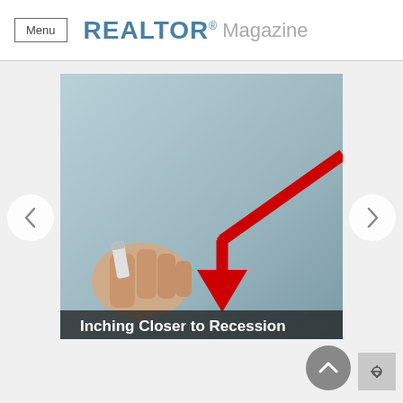Menu  REALTOR® Magazine
[Figure (photo): A hand holding a marker drawing a red downward-trending arrow on a light blue-grey surface, with text overlay 'Inching Closer to Recession'. Carousel navigation arrows (< and >) are visible on left and right sides of the image.]